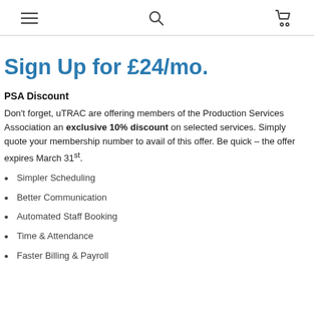Navigation bar with menu, search, and cart icons
Sign Up for £24/mo.
PSA Discount
Don't forget, uTRAC are offering members of the Production Services Association an exclusive 10% discount on selected services. Simply quote your membership number to avail of this offer. Be quick – the offer expires March 31st.
Simpler Scheduling
Better Communication
Automated Staff Booking
Time & Attendance
Faster Billing & Payroll